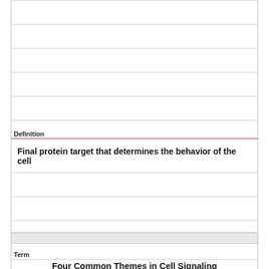Definition
Final protein target that determines the behavior of the cell
Term
Four Common Themes in Cell Signaling